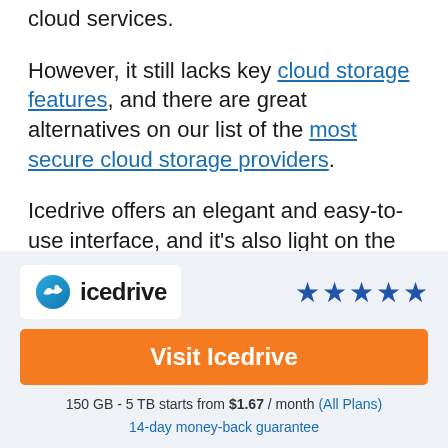cloud services.
However, it still lacks key cloud storage features, and there are great alternatives on our list of the most secure cloud storage providers.
Icedrive offers an elegant and easy-to-use interface, and it's also light on the hard drive, as files never get permanently downloaded to your computer. Its free plan is very
[Figure (logo): Icedrive logo with blue bird/cloud icon and 'icedrive' text, with 4.5 star rating]
Visit Icedrive
150 GB - 5 TB starts from $1.67 / month (All Plans) 14-day money-back guarantee